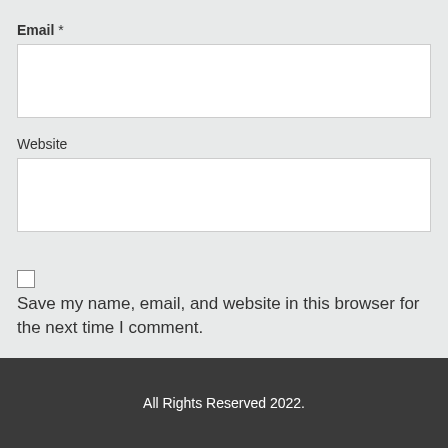Email *
Website
Save my name, email, and website in this browser for the next time I comment.
Post Comment
All Rights Reserved 2022.